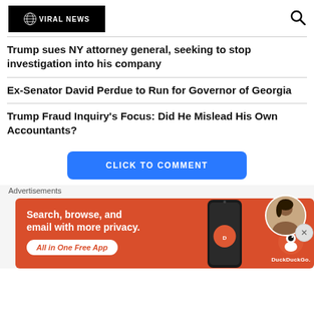[Figure (logo): Viral News logo on black background with globe icon]
Trump sues NY attorney general, seeking to stop investigation into his company
Ex-Senator David Perdue to Run for Governor of Georgia
Trump Fraud Inquiry's Focus: Did He Mislead His Own Accountants?
CLICK TO COMMENT
Advertisements
[Figure (infographic): DuckDuckGo advertisement: Search, browse, and email with more privacy. All in One Free App. Shows phone with DuckDuckGo app and smiling woman.]